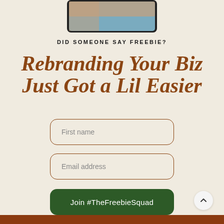[Figure (illustration): Partial view of a tablet device showing a person's hands, cropped at top of page]
DID SOMEONE SAY FREEBIE?
Rebranding Your Biz Just Got a Lil Easier
First name
Email address
Join #TheFreebieSquad